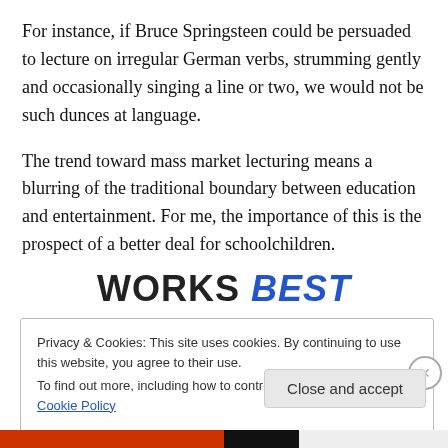For instance, if Bruce Springsteen could be persuaded to lecture on irregular German verbs, strumming gently and occasionally singing a line or two, we would not be such dunces at language.
The trend toward mass market lecturing means a blurring of the traditional boundary between education and entertainment. For me, the importance of this is the prospect of a better deal for schoolchildren.
[Figure (logo): Works Best logo — bold black uppercase WORKS followed by bold blue italic BEST]
Privacy & Cookies: This site uses cookies. By continuing to use this website, you agree to their use.
To find out more, including how to control cookies, see here: Cookie Policy